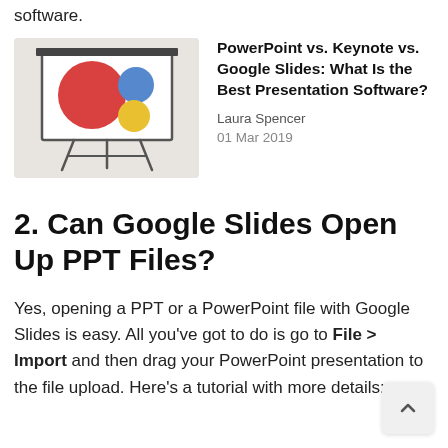software.
[Figure (illustration): Illustration of a presentation board/easel with colored shapes (large red circle, blue circle, yellow circle) on a grey background]
PowerPoint vs. Keynote vs. Google Slides: What Is the Best Presentation Software?
Laura Spencer
01 Mar 2019
2. Can Google Slides Open Up PPT Files?
Yes, opening a PPT or a PowerPoint file with Google Slides is easy. All you've got to do is go to File > Import and then drag your PowerPoint presentation to the file upload. Here's a tutorial with more details: